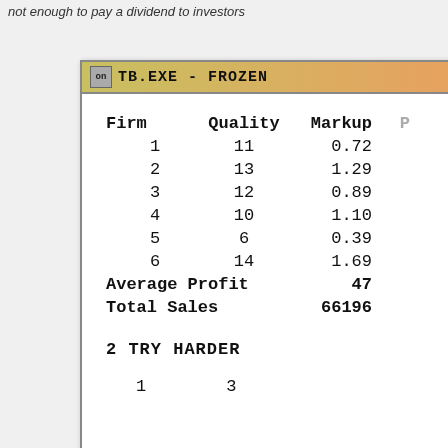not enough to pay a dividend to investors
[Figure (screenshot): TB.EXE - FROZEN simulation window showing a table with Firm, Quality, Markup columns for 6 firms, plus Average Profit and Total Sales summary rows, and a '2 TRY HARDER' message at the bottom.]
| Firm | Quality | Markup | P... |
| --- | --- | --- | --- |
| 1 | 11 | 0.72 |  |
| 2 | 13 | 1.29 |  |
| 3 | 12 | 0.89 |  |
| 4 | 10 | 1.10 |  |
| 5 | 6 | 0.39 |  |
| 6 | 14 | 1.69 |  |
| Average Profit |  | 47 |  |
| Total Sales |  | 66196 |  |
2 TRY HARDER
1    3